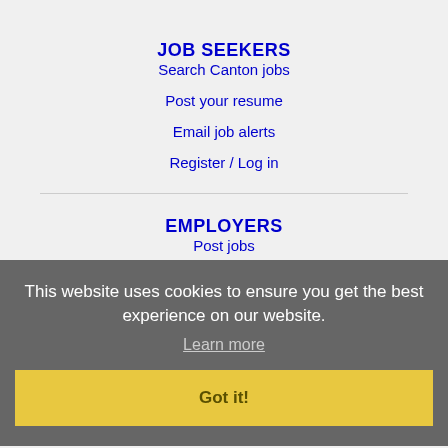JOB SEEKERS
Search Canton jobs
Post your resume
Email job alerts
Register / Log in
EMPLOYERS
Post jobs
Search resumes
Email resume alerts
Advertise
This website uses cookies to ensure you get the best experience on our website.
Learn more
Got it!
IMMIGRATION SPECIALISTS